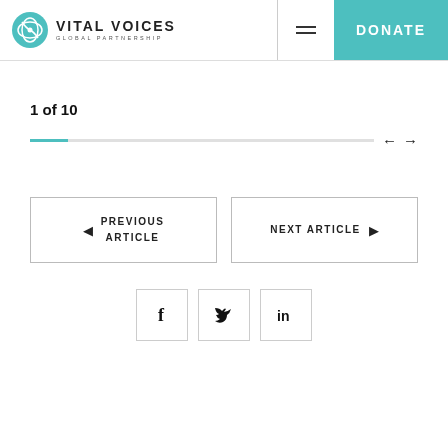Vital Voices Global Partnership | DONATE
1 of 10
← →
◄ PREVIOUS ARTICLE
NEXT ARTICLE ►
f  in